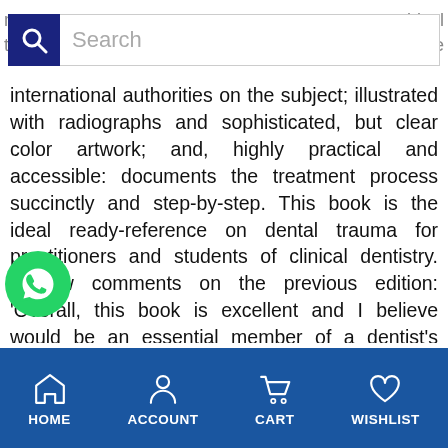[Figure (screenshot): Mobile app search bar with magnifying glass icon on blue background and 'Search' placeholder text]
international authorities on the subject; illustrated with radiographs and sophisticated, but clear color artwork; and, highly practical and accessible: documents the treatment process succinctly and step-by-step. This book is the ideal ready-reference on dental trauma for practitioners and students of clinical dentistry. Review comments on the previous edition: 'Overall, this book is excellent and I believe would be an essential member of a dentist's library. It is the sort of book that can be quickly read, and information and guidance can be located easily when the need arises. The price makes the book very affordable and I wholeheartedly recommend it
[Figure (logo): WhatsApp green circle logo with white phone handset]
HOME  ACCOUNT  CART  WISHLIST